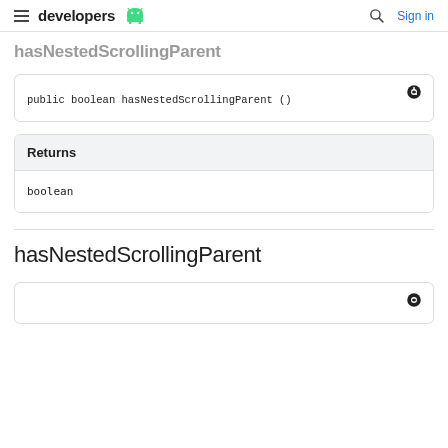developers (android logo) | Search | Sign in
hasNestedScrollingParent
| Returns |
| --- |
| boolean |
hasNestedScrollingParent